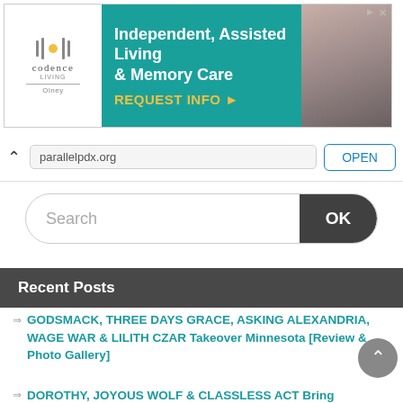[Figure (screenshot): Advertisement banner for Codence Living Olney — Independent, Assisted Living & Memory Care with REQUEST INFO button and photo of two elderly people]
parallelpdx.org
OPEN
Search
OK
Recent Posts
GODSMACK, THREE DAYS GRACE, ASKING ALEXANDRIA, WAGE WAR & LILITH CZAR Takeover Minnesota [Review & Photo Gallery]
DOROTHY, JOYOUS WOLF & CLASSLESS ACT Bring